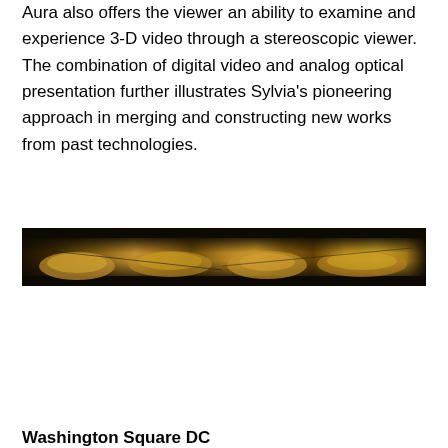Aura also offers the viewer an ability to examine and experience 3-D video through a stereoscopic viewer. The combination of digital video and analog optical presentation further illustrates Sylvia's pioneering approach in merging and constructing new works from past technologies.
[Figure (photo): A wide panoramic photograph showing what appears to be ruins or stone structures, possibly ancient architecture, in warm golden-brown tones against a dark background.]
Washington Square DC